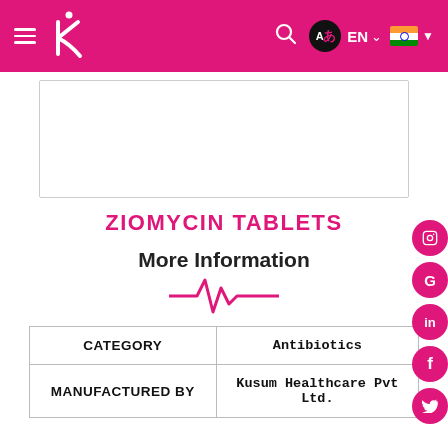Kusum Healthcare website navigation bar with logo, search, language selector (EN), and India flag
[Figure (photo): Product image box for Ziomycin Tablets (white rectangular bordered area, partially visible)]
ZIOMYCIN TABLETS
More Information
[Figure (other): Pink heartbeat/ECG line icon below 'More Information' heading]
| CATEGORY | Antibiotics |
| --- | --- |
| MANUFACTURED BY | Kusum Healthcare Pvt Ltd. |